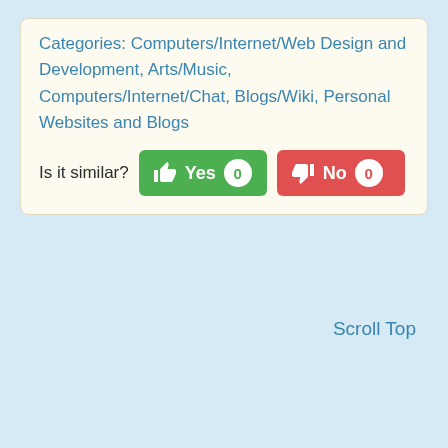Categories: Computers/Internet/Web Design and Development, Arts/Music, Computers/Internet/Chat, Blogs/Wiki, Personal Websites and Blogs
Is it similar? Yes 0  No 0
Scroll Top